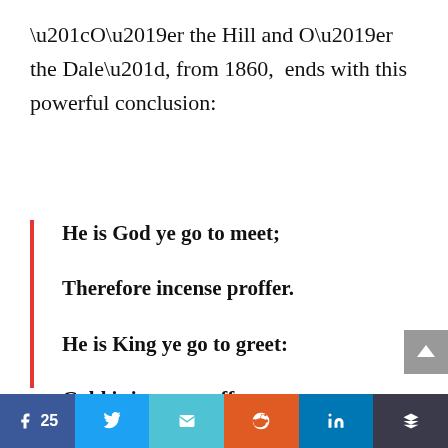“O’er the Hill and O’er the Dale”, from 1860, ends with this powerful conclusion:
He is God ye go to meet;
Therefore incense proffer.
He is King ye go to greet:
Gold is in your coffer.
Facebook 25 | Twitter | Email | Reddit | LinkedIn | Layers